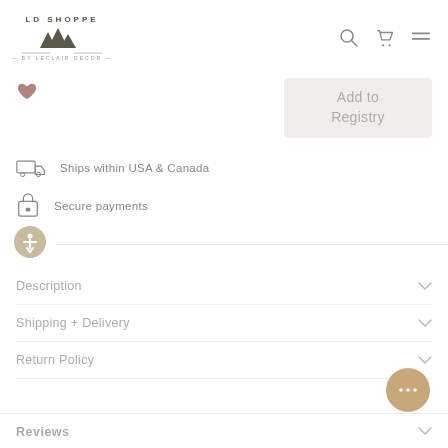[Figure (logo): LD Shoppe by LeClair Decor logo with mountain peaks]
[Figure (illustration): Search, cart, and hamburger menu navigation icons]
[Figure (illustration): Heart/wishlist icon]
Add to Registry
Ships within USA & Canada
Secure payments
[Figure (illustration): Accessibility icon in tan circle]
Description
Shipping + Delivery
Return Policy
[Figure (illustration): Chat bubble button with ellipsis]
Reviews